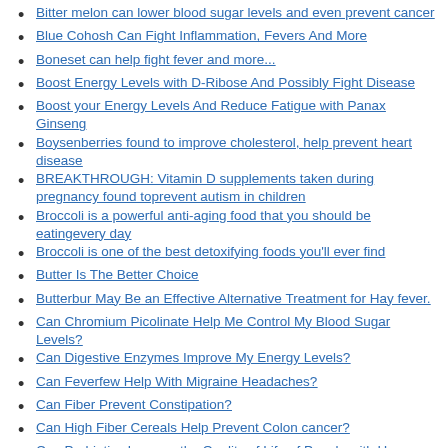Bitter melon can lower blood sugar levels and even prevent cancer
Blue Cohosh Can Fight Inflammation, Fevers And More
Boneset can help fight fever and more...
Boost Energy Levels with D-Ribose And Possibly Fight Disease
Boost your Energy Levels And Reduce Fatigue with Panax Ginseng
Boysenberries found to improve cholesterol, help prevent heart disease
BREAKTHROUGH: Vitamin D supplements taken during pregnancy found toprevent autism in children
Broccoli is a powerful anti-aging food that you should be eatingevery day
Broccoli is one of the best detoxifying foods you'll ever find
Butter Is The Better Choice
Butterbur May Be an Effective Alternative Treatment for Hay fever.
Can Chromium Picolinate Help Me Control My Blood Sugar Levels?
Can Digestive Enzymes Improve My Energy Levels?
Can Feverfew Help With Migraine Headaches?
Can Fiber Prevent Constipation?
Can High Fiber Cereals Help Prevent Colon cancer?
Can Probiotics Improve the Quality of Life of People with Hay Fever?